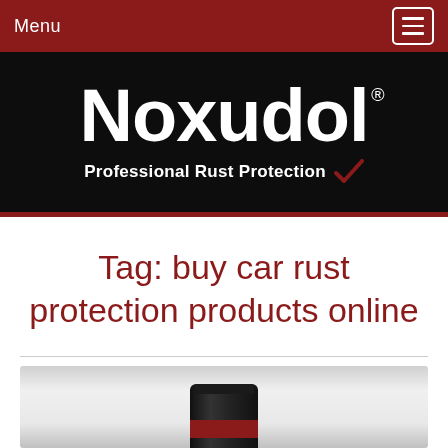Menu
[Figure (logo): Noxudol logo — white bold text on black background with tagline 'Professional Rust Protection' and a red checkmark]
Tag: buy car rust protection products online
[Figure (photo): Partial product image showing a Noxudol spray can (black) with red branding stripe at bottom, on a metallic gradient background]